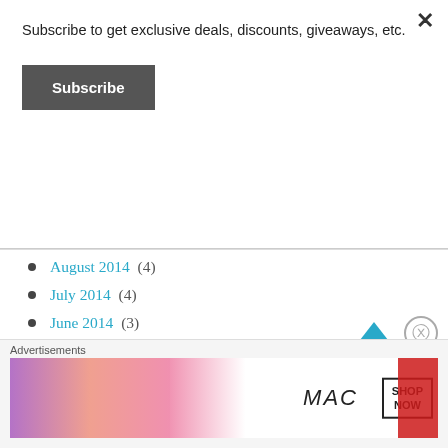Subscribe to get exclusive deals, discounts, giveaways, etc.
Subscribe
August 2014 (4)
July 2014 (4)
June 2014 (3)
May 2014 (5)
April 2014 (5)
March 2014 (7)
February 2014 (6)
Advertisements
[Figure (photo): MAC cosmetics advertisement banner showing lipsticks and SHOP NOW text]